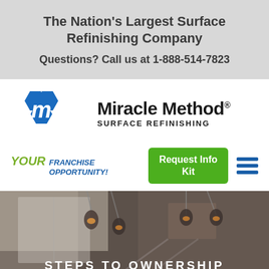The Nation's Largest Surface Refinishing Company
Questions? Call us at 1-888-514-7823
[Figure (logo): Miracle Method Surface Refinishing logo with blue hexagon M icon and company name]
YOUR FRANCHISE OPPORTUNITY!
Request Info Kit
[Figure (photo): Interior room photo with pendant lights and kitchen/room background, partially visible]
STEPS TO OWNERSHIP